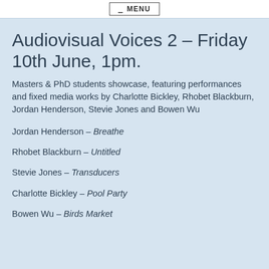≡ MENU
Audiovisual Voices 2 – Friday 10th June, 1pm.
Masters & PhD students showcase, featuring performances and fixed media works by Charlotte Bickley, Rhobet Blackburn, Jordan Henderson, Stevie Jones and Bowen Wu
Jordan Henderson – Breathe
Rhobet Blackburn – Untitled
Stevie Jones – Transducers
Charlotte Bickley – Pool Party
Bowen Wu – Birds Market